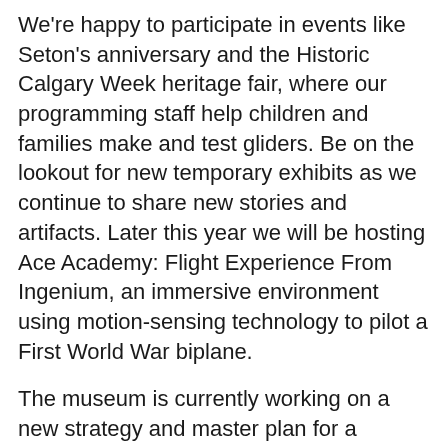We're happy to participate in events like Seton's anniversary and the Historic Calgary Week heritage fair, where our programming staff help children and families make and test gliders. Be on the lookout for new temporary exhibits as we continue to share new stories and artifacts. Later this year we will be hosting Ace Academy: Flight Experience From Ingenium, an immersive environment using motion-sensing technology to pilot a First World War biplane.
The museum is currently working on a new strategy and master plan for a building expansion, and we are looking forward to announcing this exciting project in the coming year.
The Hangar Flight Museum is always moving onwards and upwards!
For more exciting news and updates, follow the museum on Facebook, Instagram, and Twitter, and